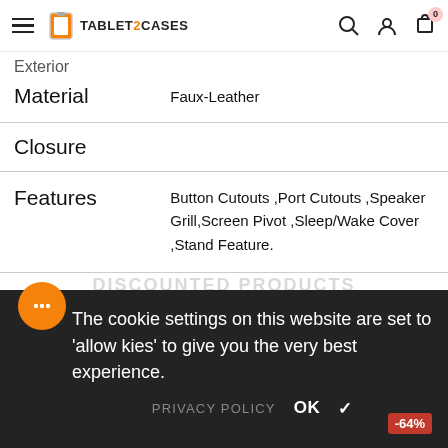TABLET2CASES — navigation header with hamburger menu, logo, search, account, cart (0)
| Feature | Value |
| --- | --- |
| Exterior Material | Faux-Leather |
| Closure |  |
| Features | Button Cutouts ,Port Cutouts ,Speaker Grill,Screen Pivot ,Sleep/Wake Cover ,Stand Feature. |
The cookie settings on this website are set to 'allow cookies' to give you the very best experience.
PRIVACY POLICY  OK ✓